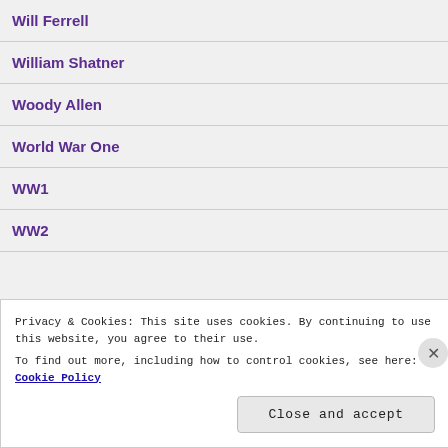Will Ferrell
William Shatner
Woody Allen
World War One
WW1
WW2
Privacy & Cookies: This site uses cookies. By continuing to use this website, you agree to their use.
To find out more, including how to control cookies, see here: Cookie Policy
Close and accept